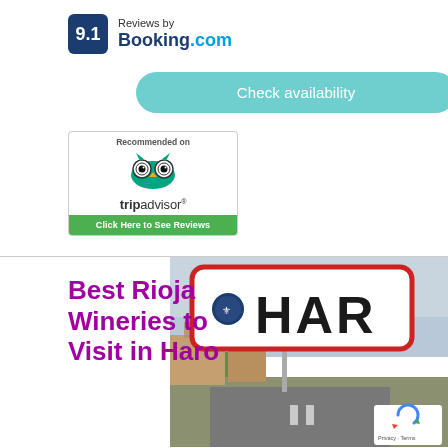[Figure (logo): Booking.com review score badge showing 9.1 rating with 'Reviews by Booking.com' text]
[Figure (other): Check availability button in teal/cyan rounded rectangle]
[Figure (logo): TripAdvisor 'Recommended on' badge with owl logo and 'Click Here to See Reviews' green button]
Best Rioja Wineries to Visit in Haro
[Figure (photo): Photo of a road sign reading 'HAR' (Haro) with a red border, a town emblem, and buildings/road in background]